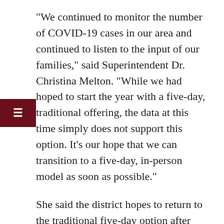“We continued to monitor the number of COVID-19 cases in our area and continued to listen to the input of our families,” said Superintendent Dr. Christina Melton. “While we had hoped to start the year with a five-day, traditional offering, the data at this time simply does not support this option. It’s our hope that we can transition to a five-day, in-person model as soon as possible.”
She said the district hopes to return to the traditional five-day option after October 8.
At the August 10 meeting the board held a discussion on various issues that could come up when schools open. A major topic was the use of face masks in schools and where they should be